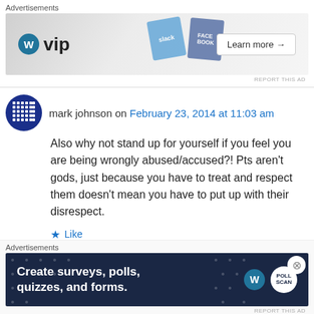Advertisements
[Figure (screenshot): WordPress VIP advertisement banner with Slack and Facebook card graphics, showing 'Learn more' button]
REPORT THIS AD
mark johnson on February 23, 2014 at 11:03 am
Also why not stand up for yourself if you feel you are being wrongly abused/accused?! Pts aren't gods, just because you have to treat and respect them doesn't mean you have to put up with their disrespect.
Like
Reply
Advertisements
[Figure (screenshot): Dark blue advertisement banner: 'Create surveys, polls, quizzes, and forms.' with WordPress and Poll logos]